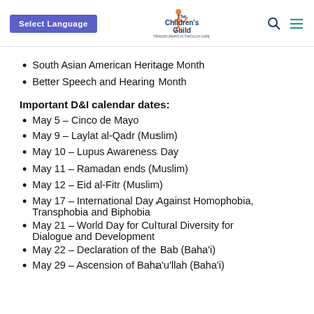Select Language | The Children's Guild
South Asian American Heritage Month
Better Speech and Hearing Month
Important D&I calendar dates:
May 5 – Cinco de Mayo
May 9 – Laylat al-Qadr (Muslim)
May 10 – Lupus Awareness Day
May 11 – Ramadan ends (Muslim)
May 12 – Eid al-Fitr (Muslim)
May 17 – International Day Against Homophobia, Transphobia and Biphobia
May 21 – World Day for Cultural Diversity for Dialogue and Development
May 22 – Declaration of the Bab (Baha'i)
May 29 – Ascension of Baha'u'llah (Baha'i)